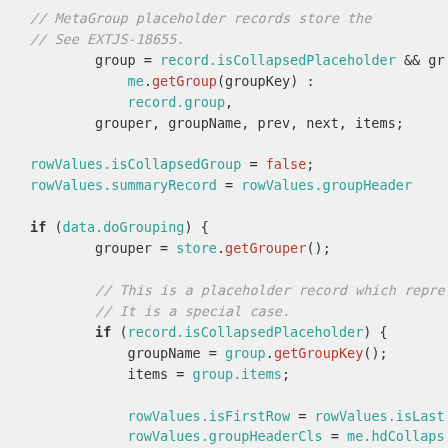[Figure (screenshot): Source code snippet showing JavaScript code with syntax highlighting. Contains comments, variable assignments, and conditional blocks using teal/cyan for identifiers, red for keywords like false, bold for keywords like if, and gray italic for comments.]